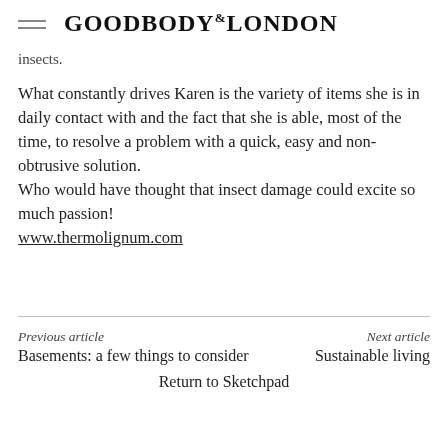GOODBODY & LONDON
insects.
What constantly drives Karen is the variety of items she is in daily contact with and the fact that she is able, most of the time, to resolve a problem with a quick, easy and non-obtrusive solution.
Who would have thought that insect damage could excite so much passion!
www.thermolignum.com
Previous article
Basements: a few things to consider
Next article
Sustainable living
Return to Sketchpad